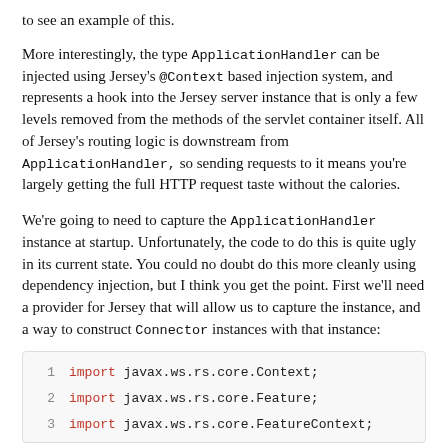to see an example of this.
More interestingly, the type ApplicationHandler can be injected using Jersey's @Context based injection system, and represents a hook into the Jersey server instance that is only a few levels removed from the methods of the servlet container itself. All of Jersey's routing logic is downstream from ApplicationHandler, so sending requests to it means you're largely getting the full HTTP request taste without the calories.
We're going to need to capture the ApplicationHandler instance at startup. Unfortunately, the code to do this is quite ugly in its current state. You could no doubt do this more cleanly using dependency injection, but I think you get the point. First we'll need a provider for Jersey that will allow us to capture the instance, and a way to construct Connector instances with that instance:
1   import javax.ws.rs.core.Context;
2   import javax.ws.rs.core.Feature;
3   import javax.ws.rs.core.FeatureContext;